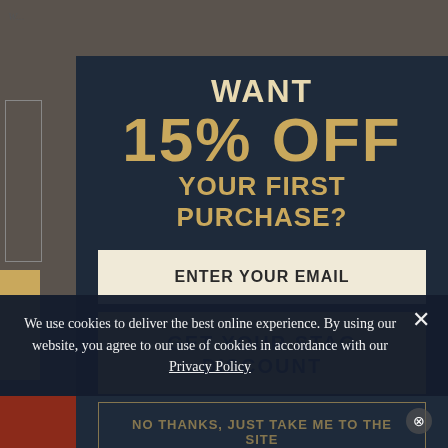[Figure (screenshot): Website popup modal on a dark navy background offering 15% off first purchase. Contains a large headline 'WANT 15% OFF YOUR FIRST PURCHASE?', an email input field, a gold CTA button reading 'GET YOUR STAG DISCOUNT', and a 'NO THANKS' dismiss link. Overlaid by a cookie consent banner at the bottom reading 'We use cookies to deliver the best online experience. By using our website, you agree to our use of cookies in accordance with our Privacy Policy'. A dark red/brown strip is visible at the bottom of the page.]